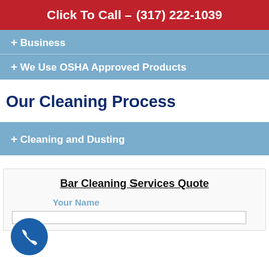Click To Call – (317) 222-1039
+ Business
+ We Use OSHA Approved Products
Our Cleaning Process
+ Cleaning and Dusting
Bar Cleaning Services Quote
Your Name